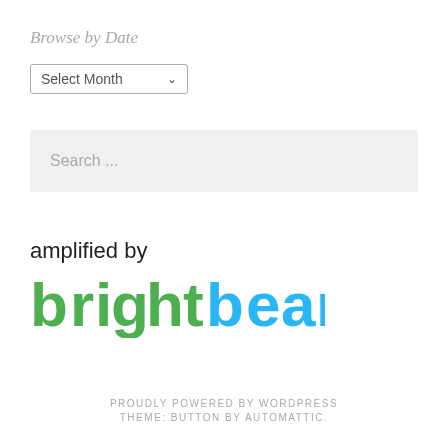Browse by Date
Select Month
Search ...
[Figure (logo): amplified by brightbeam logo — 'amplified by' in black sans-serif, 'brightbeam' in large green and blue bold text with TM mark]
PROUDLY POWERED BY WORDPRESS
THEME: BUTTON BY AUTOMATTIC.